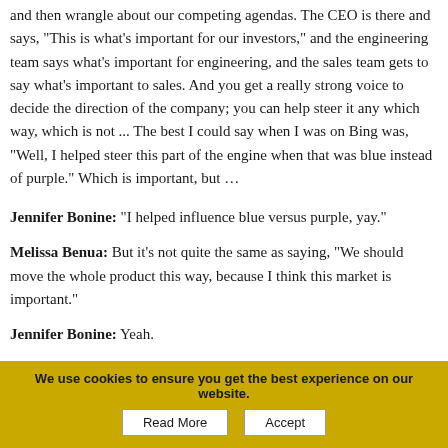and then wrangle about our competing agendas. The CEO is there and says, "This is what's important for our investors," and the engineering team says what's important for engineering, and the sales team gets to say what's important to sales. And you get a really strong voice to decide the direction of the company; you can help steer it any which way, which is not ... The best I could say when I was on Bing was, "Well, I helped steer this part of the engine when that was blue instead of purple." Which is important, but …
Jennifer Bonine: "I helped influence blue versus purple, yay."
Melissa Benua: But it's not quite the same as saying, "We should move the whole product this way, because I think this market is important."
Jennifer Bonine: Yeah.
Melissa Benua: So that power's just ...
Jennifer Bonine: Intoxicating.
Melissa Benua: Intoxicating.
We use cookies to ensure you get the best experience on our website.